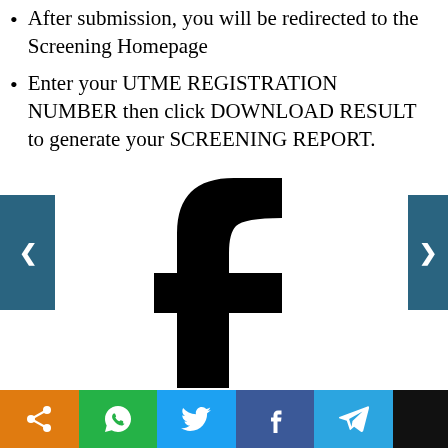After submission, you will be redirected to the Screening Homepage
Enter your UTME REGISTRATION NUMBER then click DOWNLOAD RESULT to generate your SCREENING REPORT.
[Figure (logo): Facebook logo (black 'f' on white background)]
[Figure (infographic): Social media share bar with icons: share, WhatsApp, Twitter, Facebook, Telegram, and a dark button]